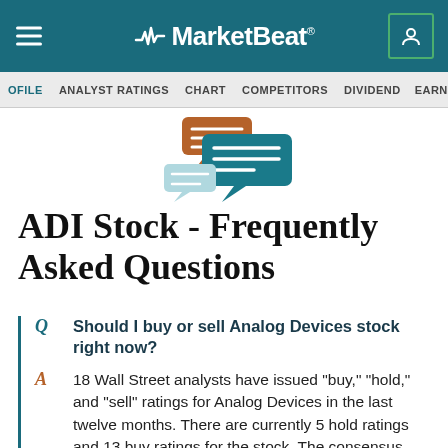MarketBeat
PROFILE  ANALYST RATINGS  CHART  COMPETITORS  DIVIDEND  EARNINGS > FI
[Figure (illustration): Chat bubble illustration with teal and brown speech bubbles]
ADI Stock - Frequently Asked Questions
Q  Should I buy or sell Analog Devices stock right now?
18 Wall Street analysts have issued "buy," "hold," and "sell" ratings for Analog Devices in the last twelve months. There are currently 5 hold ratings and 13 buy ratings for the stock. The consensus among Wall Street analysts is that